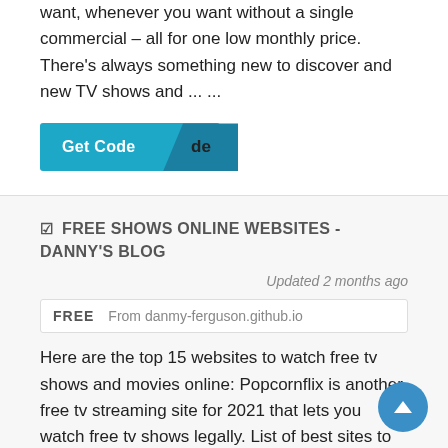want, whenever you want without a single commercial – all for one low monthly price. There's always something new to discover and new TV shows and ... ...
[Figure (other): A teal 'Get Code' button with a darker teal angled section on the right showing the letters 'de']
☑ FREE SHOWS ONLINE WEBSITES - DANNY'S BLOG
Updated 2 months ago
FREE   From danmy-ferguson.github.io
Here are the top 15 websites to watch free tv shows and movies online: Popcornflix is another free tv streaming site for 2021 that lets you watch free tv shows legally. List of best sites to watch tv shows